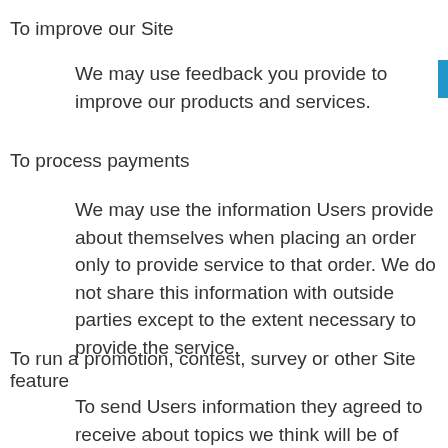To improve our Site
We may use feedback you provide to improve our products and services.
To process payments
We may use the information Users provide about themselves when placing an order only to provide service to that order. We do not share this information with outside parties except to the extent necessary to provide the service.
To run a promotion, contest, survey or other Site feature
To send Users information they agreed to receive about topics we think will be of interest to them.